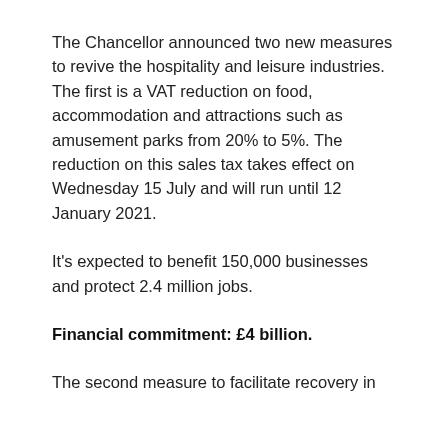The Chancellor announced two new measures to revive the hospitality and leisure industries. The first is a VAT reduction on food, accommodation and attractions such as amusement parks from 20% to 5%. The reduction on this sales tax takes effect on Wednesday 15 July and will run until 12 January 2021.
It's expected to benefit 150,000 businesses and protect 2.4 million jobs.
Financial commitment: £4 billion.
The second measure to facilitate recovery in